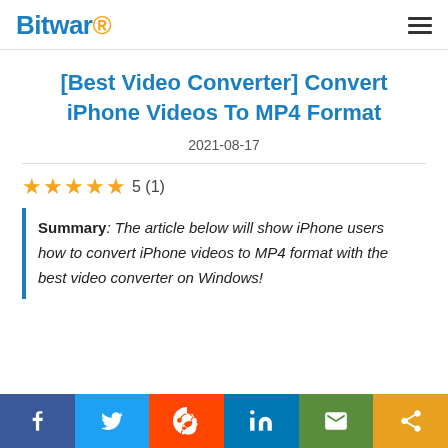Bitwar
[Best Video Converter] Convert iPhone Videos To MP4 Format
2021-08-17
5 (1)
Summary: The article below will show iPhone users how to convert iPhone videos to MP4 format with the best video converter on Windows!
Share bar: Facebook, Twitter, Reddit, LinkedIn, Email, Share